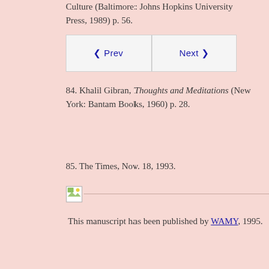Culture (Baltimore: Johns Hopkins University Press, 1989) p. 56.
84. Khalil Gibran, Thoughts and Meditations (New York: Bantam Books, 1960) p. 28.
85. The Times, Nov. 18, 1993.
[Figure (other): Broken image placeholder with horizontal divider line]
This manuscript has been published by WAMY, 1995.
◀ Prev   Next ▶